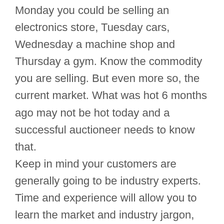Monday you could be selling an electronics store, Tuesday cars, Wednesday a machine shop and Thursday a gym. Know the commodity you are selling. But even more so, the current market. What was hot 6 months ago may not be hot today and a successful auctioneer needs to know that. Keep in mind your customers are generally going to be industry experts. Time and experience will allow you to learn the market and industry jargon, but research can always help. Make sure you can talk-the-talk.
7. Presentation is Key
The amount of effort put into presentation is the difference between a